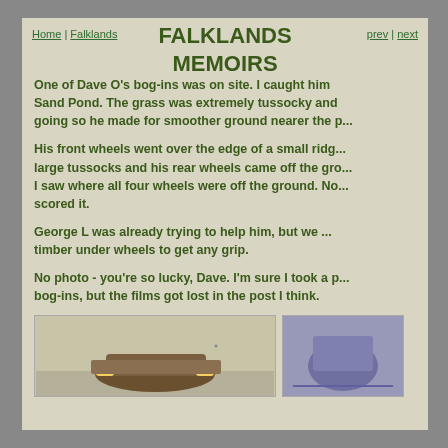Home | Falklands
FALKLANDS MEMOIRS
prev | next
One of Dave O's bog-ins was on site. I caught him ... Sand Pond. The grass was extremely tussocky and ... going so he made for smoother ground nearer the p...
His front wheels went over the edge of a small ridg... large tussocks and his rear wheels came off the gro... I saw where all four wheels were off the ground. No... scored it.
George L was already trying to help him, but we ... timber under wheels to get any grip.
No photo - you're so lucky, Dave. I'm sure I took a p... bog-ins, but the films got lost in the post I think.
[Figure (photo): A photo showing a vehicle bogged in terrain, left image]
[Figure (photo): A photo showing a vehicle bogged in terrain, right image]